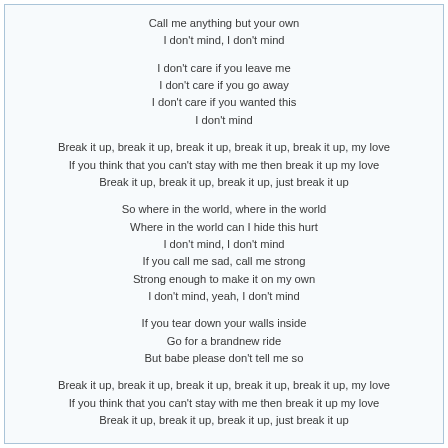Call me anything but your own
I don't mind, I don't mind
I don't care if you leave me
I don't care if you go away
I don't care if you wanted this
I don't mind
Break it up, break it up, break it up, break it up, break it up, my love
If you think that you can't stay with me then break it up my love
Break it up, break it up, break it up, just break it up
So where in the world, where in the world
Where in the world can I hide this hurt
I don't mind, I don't mind
If you call me sad, call me strong
Strong enough to make it on my own
I don't mind, yeah, I don't mind
If you tear down your walls inside
Go for a brandnew ride
But babe please don't tell me so
Break it up, break it up, break it up, break it up, break it up, my love
If you think that you can't stay with me then break it up my love
Break it up, break it up, break it up, just break it up